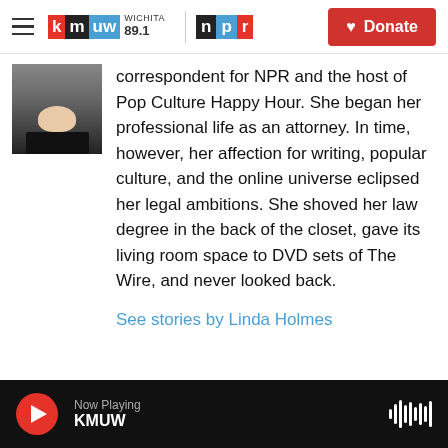[Figure (logo): KMUW Wichita 89.1 and NPR logos in header with hamburger menu]
[Figure (photo): Headshot photo of Linda Holmes, showing chin/neck area and black shirt top]
correspondent for NPR and the host of Pop Culture Happy Hour. She began her professional life as an attorney. In time, however, her affection for writing, popular culture, and the online universe eclipsed her legal ambitions. She shoved her law degree in the back of the closet, gave its living room space to DVD sets of The Wire, and never looked back.
See stories by Linda Holmes
Now Playing KMUW